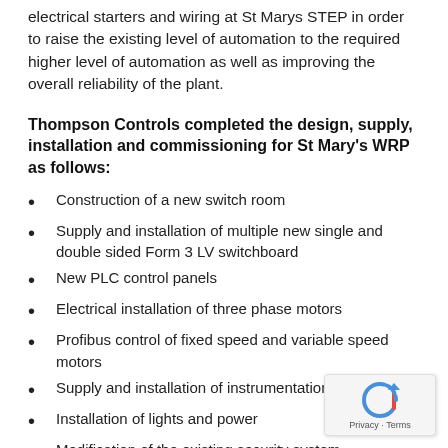electrical starters and wiring at St Marys STEP in order to raise the existing level of automation to the required higher level of automation as well as improving the overall reliability of the plant.
Thompson Controls completed the design, supply, installation and commissioning for St Mary's WRP as follows:
Construction of a new switch room
Supply and installation of multiple new single and double sided Form 3 LV switchboard
New PLC control panels
Electrical installation of three phase motors
Profibus control of fixed speed and variable speed motors
Supply and installation of instrumentation
Installation of lights and power
Modification of the existing security system